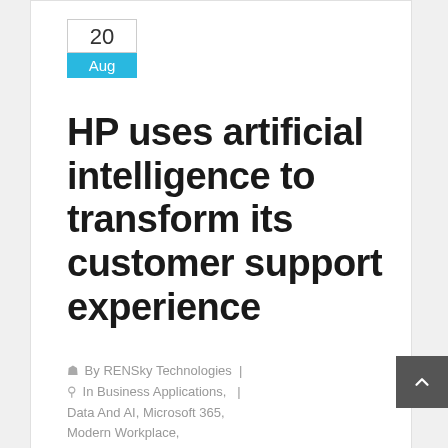20 Aug
HP uses artificial intelligence to transform its customer support experience
By RENSky Technologies | In Business Applications, | Data And AI, Microsoft 365, Modern Workplace, Uncategorized